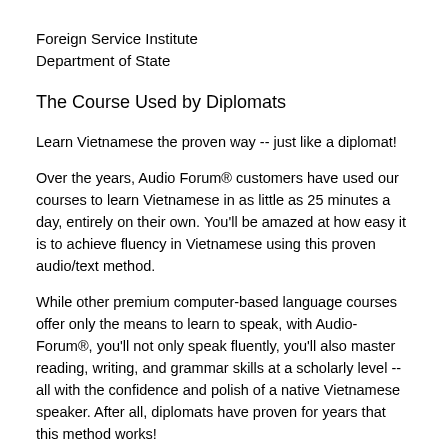Foreign Service Institute
Department of State
The Course Used by Diplomats
Learn Vietnamese the proven way -- just like a diplomat!
Over the years, Audio Forum® customers have used our courses to learn Vietnamese in as little as 25 minutes a day, entirely on their own. You'll be amazed at how easy it is to achieve fluency in Vietnamese using this proven audio/text method.
While other premium computer-based language courses offer only the means to learn to speak, with Audio-Forum®, you'll not only speak fluently, you'll also master reading, writing, and grammar skills at a scholarly level -- all with the confidence and polish of a native Vietnamese speaker. After all, diplomats have proven for years that this method works!